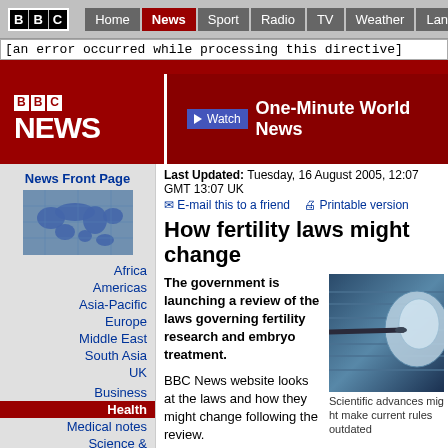BBC | Home | News | Sport | Radio | TV | Weather | Languages
[an error occurred while processing this directive]
[Figure (logo): BBC News logo with red background and Watch One-Minute World News button]
News Front Page
[Figure (illustration): World map in blue]
Africa
Americas
Asia-Pacific
Europe
Middle East
South Asia
UK
Business
Health
Medical notes
Science & Environment
Technology
Entertainment
Also in the news
Last Updated: Tuesday, 16 August 2005, 12:07 GMT 13:07 UK
E-mail this to a friend   Printable version
How fertility laws might change
The government is launching a review of the laws governing fertility research and embryo treatment.
[Figure (photo): Scientific microscope image of fertilisation/embryo]
Scientific advances might make current rules outdated
BBC News website looks at the laws and how they might change following the review.
The Human Fertilisation and Embryology Act became law in 1990.
It has provided a framework for the Human Fertilisation Authority (HFEA) ever since.
The HFEA's principal tasks are to license and monitor